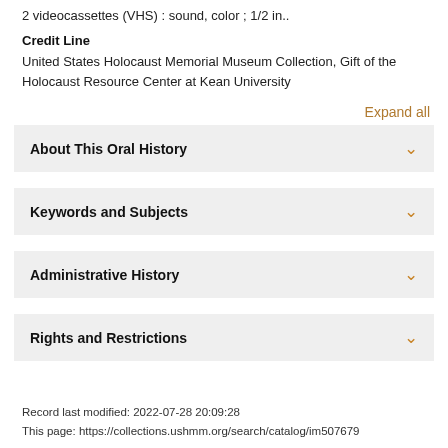2 videocassettes (VHS) : sound, color ; 1/2 in..
Credit Line
United States Holocaust Memorial Museum Collection, Gift of the Holocaust Resource Center at Kean University
Expand all
About This Oral History
Keywords and Subjects
Administrative History
Rights and Restrictions
Record last modified: 2022-07-28 20:09:28
This page: https://collections.ushmm.org/search/catalog/im507679